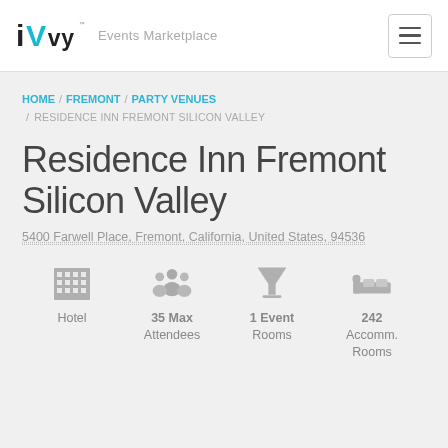iVvy Events Marketplace
HOME / FREMONT / PARTY VENUES / RESIDENCE INN FREMONT SILICON VALLEY
Residence Inn Fremont Silicon Valley
5400 Farwell Place, Fremont, California, United States, 94536
Hotel | 35 Max Attendees | 1 Event Rooms | 242 Accomm. Rooms